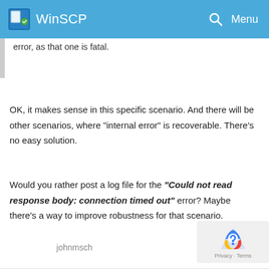WinSCP
error, as that one is fatal.
OK, it makes sense in this specific scenario. And there will be other scenarios, where "internal error" is recoverable. There's no easy solution.
Would you rather post a log file for the "Could not read response body: connection timed out" error? Maybe there's a way to improve robustness for that scenario.
johnmsch